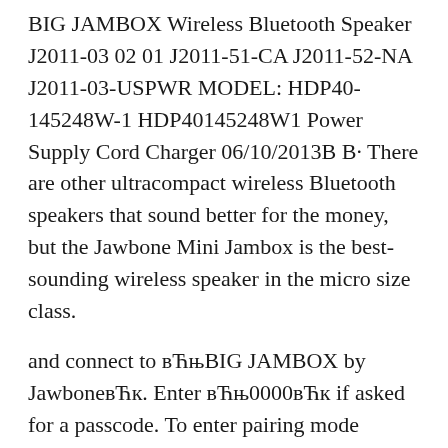BIG JAMBOX Wireless Bluetooth Speaker J2011-03 02 01 J2011-51-CA J2011-52-NA J2011-03-USPWR MODEL: HDP40-145248W-1 HDP40145248W1 Power Supply Cord Charger 06/10/2013B B· There are other ultracompact wireless Bluetooth speakers that sound better for the money, but the Jawbone Mini Jambox is the best-sounding wireless speaker in the micro size class.
and connect to вЋњBIG JAMBOX by JawboneвЋк. Enter вЋњ0000вЋк if asked for a passcode. To enter pairing mode thereafter, hold the pairing button until the LED flashes red & white. PAIRING POWER/LED Connect BIG JAMBOXв„ÿ to any device with a headphone jack